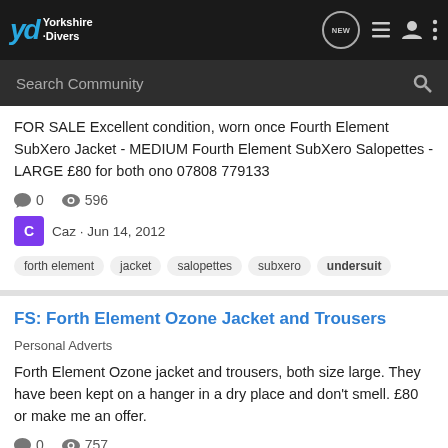Yorkshire Divers
FOR SALE Excellent condition, worn once Fourth Element SubXero Jacket - MEDIUM Fourth Element SubXero Salopettes - LARGE £80 for both ono 07808 779133
0 comments · 596 views
Caz · Jun 14, 2012
forth element   jacket   salopettes   subxero   undersuit
FS: Forth Element Ozone Jacket and Trousers
Personal Adverts
Forth Element Ozone jacket and trousers, both size large. They have been kept on a hanger in a dry place and don't smell. £80 or make me an offer.
0 comments · 757 views